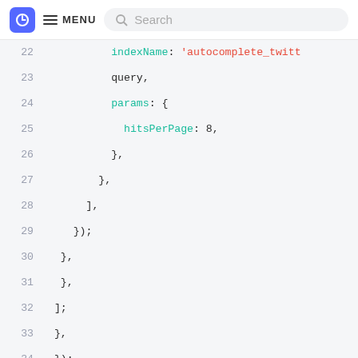MENU Search
[Figure (screenshot): Code editor screenshot showing lines 22–37 of JavaScript code with syntax highlighting. Line 22: indexName: 'autocomplete_twitt, line 23: query,, line 24: params: {, line 25: hitsPerPage: 8,, line 26: },, line 27: },, line 28: ],, line 29: });, line 30: },, line 31: },, line 32: ];, line 33: },, line 34: });, line 35: (empty), line 36: // ..., line 37: }]